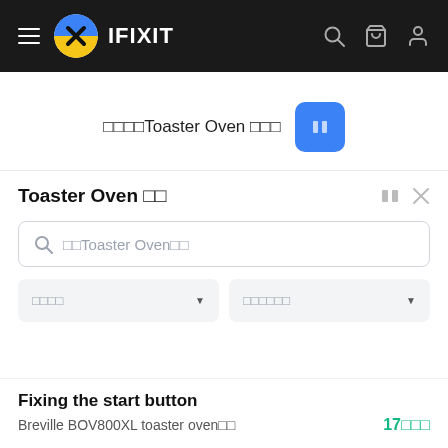iFixit navigation bar
□□□□Toaster Oven □□□
Toaster Oven □□
□□Toaster Oven□□
□□□□ (dropdown 1)
□□□□□□ (dropdown 2)
Fixing the start button
Breville BOV800XL toaster oven□□   17□□□